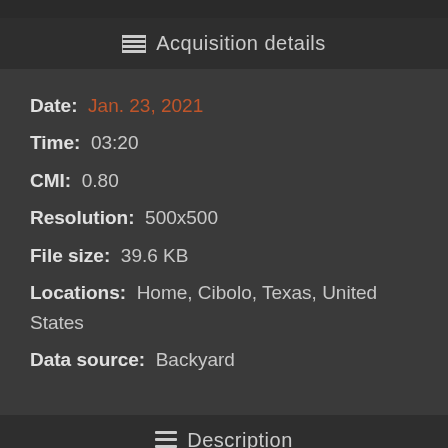Acquisition details
Date: Jan. 23, 2021
Time: 03:20
CMI: 0.80
Resolution: 500x500
File size: 39.6 KB
Locations: Home, Cibolo, Texas, United States
Data source: Backyard
Description
I was expecting partly cloudy skies, but it cleared for a couple hours so I took out the C8 to get a quick shot of